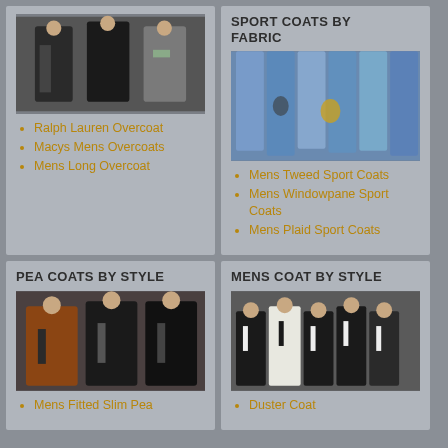[Figure (photo): Three men wearing overcoats in dark colors]
Ralph Lauren Overcoat
Macys Mens Overcoats
Mens Long Overcoat
SPORT COATS BY FABRIC
[Figure (photo): Multiple sport coats hanging on a rack in blue and other colors]
Mens Tweed Sport Coats
Mens Windowpane Sport Coats
Mens Plaid Sport Coats
PEA COATS BY STYLE
[Figure (photo): Three men wearing pea coats in brown and black]
Mens Fitted Slim Pea
MENS COAT BY STYLE
[Figure (photo): Group of men in tuxedos and formal coats]
Duster Coat